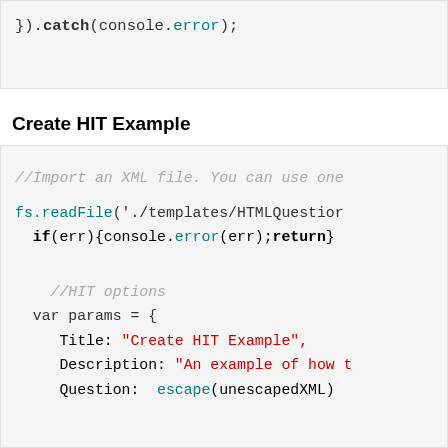}).catch(console.error);
Create HIT Example
//Import an XML file. You can use one
fs.readFile('./templates/HTMLQuestion
  if(err){console.error(err);return}

  //HIT options
  var params = {
    Title: "Create HIT Example",
    Description: "An example of how t
    Question: escape(unescapedXML)